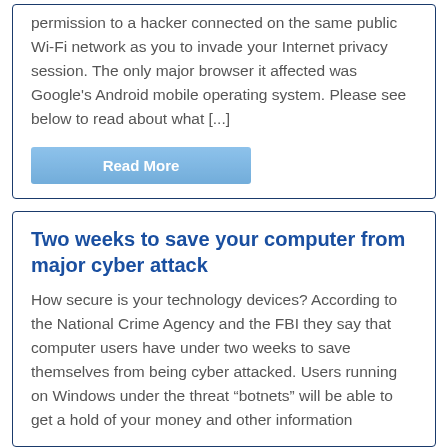permission to a hacker connected on the same public Wi-Fi network as you to invade your Internet privacy session.  The only major browser it affected  was Google's Android mobile operating system.  Please see below to read about what [...]
Read More
Two weeks to save your computer from major cyber attack
How secure is your technology devices?  According to the National Crime Agency and the FBI they say that computer users have under two weeks to save themselves from being cyber attacked.  Users running on Windows under the threat “botnets” will be able to get a hold of your money and other information